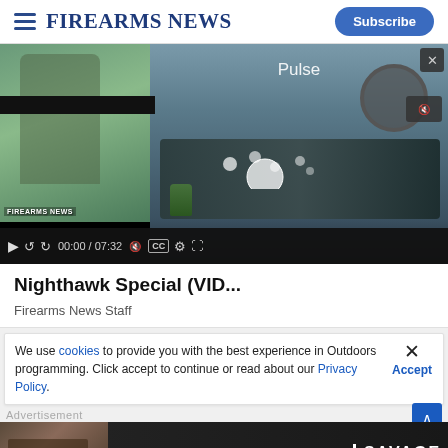Firearms News — Subscribe
[Figure (screenshot): Embedded video player showing a person shooting outdoors (left panel with FIREARMS NEWS watermark) and a close-up of a black firearm/weapon with a red dot sight (right panel). Video controls show 00:00 / 07:32. A 'Pulse' label is visible on the right panel.]
Nighthawk Special (VID...
Firearms News Staff
We use cookies to provide you with the best experience in Outdoors programming. Click accept to continue or read about our Privacy Policy.
Advertisement
[Figure (advertisement): Savage Arms advertisement banner: dark background with gun image on left and text 'THE BEST STORIES START WITH SAVAGE']